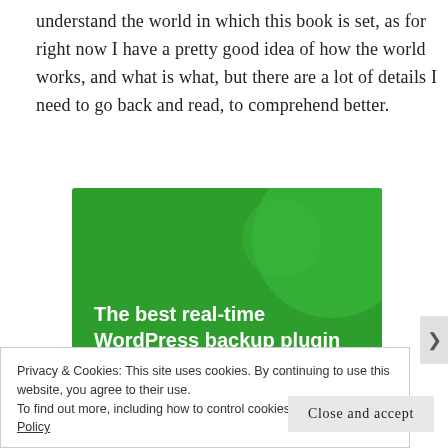understand the world in which this book is set, as for right now I have a pretty good idea of how the world works, and what is what, but there are a lot of details I need to go back and read, to comprehend better.
[Figure (infographic): Green advertisement banner reading 'The best real-time WordPress backup plugin' with circular design elements and a white button strip at the bottom.]
Privacy & Cookies: This site uses cookies. By continuing to use this website, you agree to their use.
To find out more, including how to control cookies, see here: Cookie Policy
Close and accept